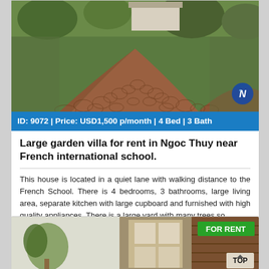[Figure (photo): Outdoor photo of a garden villa property showing a curved brick/cobblestone driveway with trees and greenery, with a blue logo badge in the bottom right corner]
ID: 9072 | Price: USD1,500 p/month | 4 Bed | 3 Bath
Large garden villa for rent in Ngoc Thuy near French international school.
This house is located in a quiet lane with walking distance to the French School. There is 4 bedrooms, 3 bathrooms, large living area, separate kitchen with large cupboard and furnished with high quality appliances. There is a large yard with many trees so
View detail
[Figure (photo): Second property listing photo showing interior/exterior of a house with plants, wooden door frame, and wooden paneling, with a green FOR RENT badge and a TOP navigation button]